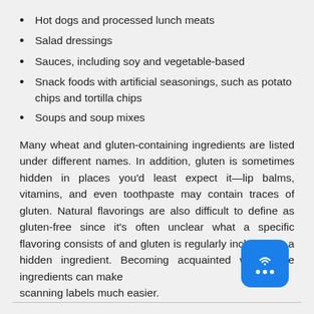Hot dogs and processed lunch meats
Salad dressings
Sauces, including soy and vegetable-based
Snack foods with artificial seasonings, such as potato chips and tortilla chips
Soups and soup mixes
Many wheat and gluten-containing ingredients are listed under different names. In addition, gluten is sometimes hidden in places you'd least expect it—lip balms, vitamins, and even toothpaste may contain traces of gluten. Natural flavorings are also difficult to define as gluten-free since it's often unclear what a specific flavoring consists of and gluten is regularly included as a hidden ingredient. Becoming acquainted with these ingredients can make scanning labels much easier.